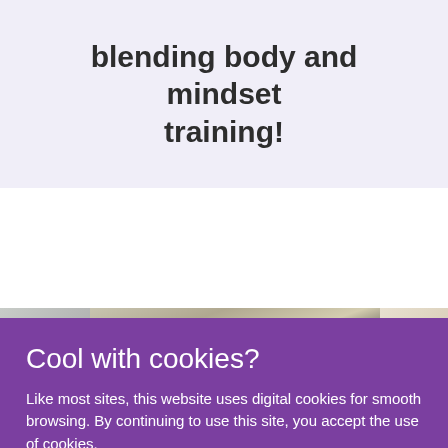blending body and mindset training!
[Figure (photo): Partial view of a room with windows and desk equipment, shown as a horizontal photo strip]
Cool with cookies?
Like most sites, this website uses digital cookies for smooth browsing. By continuing to use this site, you accept the use of cookies.
ACCEPT & CLOSE